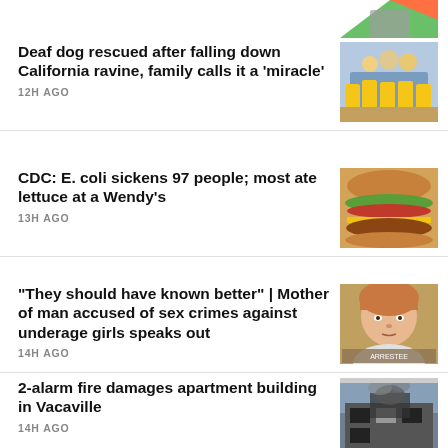[Figure (photo): Partial colorful image at top right corner]
Deaf dog rescued after falling down California ravine, family calls it a 'miracle'
12H AGO
[Figure (photo): Group of firefighters in yellow gear posing for photo outdoors]
CDC: E. coli sickens 97 people; most ate lettuce at a Wendy's
13H AGO
[Figure (photo): Close-up of a hamburger with lettuce, tomato, and cheese]
"They should have known better" | Mother of man accused of sex crimes against underage girls speaks out
14H AGO
[Figure (photo): Mugshot of young man with reddish hair]
2-alarm fire damages apartment building in Vacaville
14H AGO
[Figure (photo): Partial view of fire-damaged apartment building]